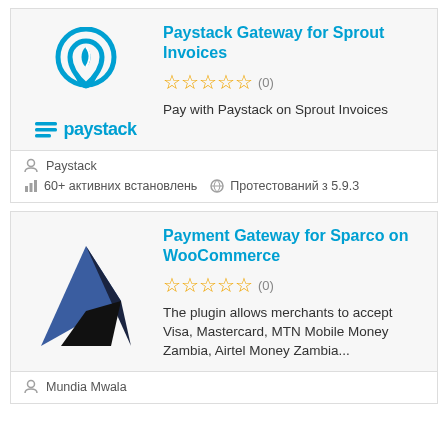[Figure (logo): Paystack Gateway for Sprout Invoices plugin card with Paystack logo (leaf/map-pin icon and paystack wordmark)]
Paystack Gateway for Sprout Invoices
☆☆☆☆☆ (0)
Pay with Paystack on Sprout Invoices
Paystack
60+ активних встановлень  Протестований з 5.9.3
[Figure (logo): Payment Gateway for Sparco on WooCommerce plugin card with Sparco arrow logo]
Payment Gateway for Sparco on WooCommerce
☆☆☆☆☆ (0)
The plugin allows merchants to accept Visa, Mastercard, MTN Mobile Money Zambia, Airtel Money Zambia...
Mundia Mwala